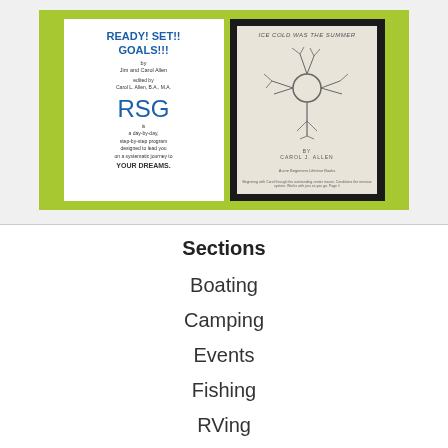[Figure (illustration): Two book covers on a lime-green background. Left book: 'READY! SET!! GOALS!!!' by Jim and Carol Allen, edited by Carol L. Allen, B.A., M.A., with RSG subtitle text. Right book: 'ICE COLD WAS THE SUMMER' by Carol J. Allen, featuring a pencil illustration of a neuron.]
Sections
Boating
Camping
Events
Fishing
RVing
Shooting Sports